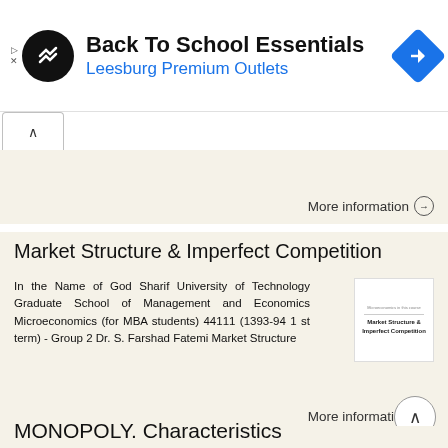[Figure (screenshot): Advertisement banner for Back To School Essentials at Leesburg Premium Outlets with circular logo and navigation icon]
Back To School Essentials
Leesburg Premium Outlets
More information →
Market Structure & Imperfect Competition
In the Name of God Sharif University of Technology Graduate School of Management and Economics Microeconomics (for MBA students) 44111 (1393-94 1 st term) - Group 2 Dr. S. Farshad Fatemi Market Structure
More information →
MONOPOLY. Characteristics